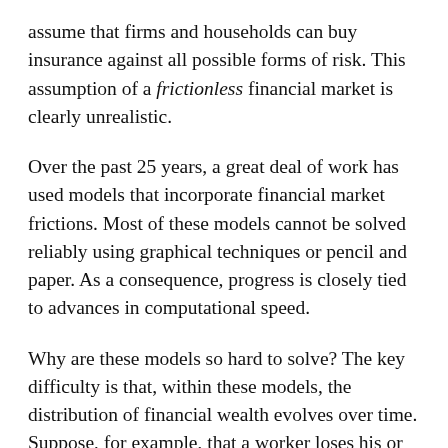assume that firms and households can buy insurance against all possible forms of risk. This assumption of a frictionless financial market is clearly unrealistic.
Over the past 25 years, a great deal of work has used models that incorporate financial market frictions. Most of these models cannot be solved reliably using graphical techniques or pencil and paper. As a consequence, progress is closely tied to advances in computational speed.
Why are these models so hard to solve? The key difficulty is that, within these models, the distribution of financial wealth evolves over time. Suppose, for example, that a worker loses his or her job. If the worker were fully insured against this outcome, the worker's wealth would not be affected by this loss. However, in a model with only partial insurance, the worker will run down his or her